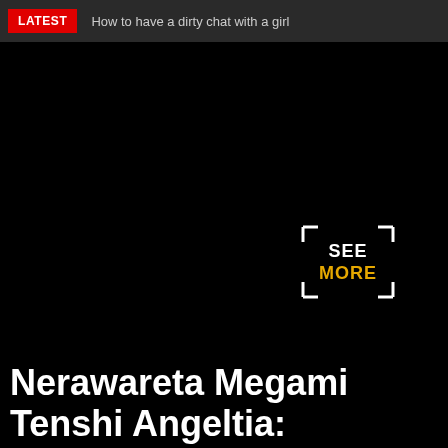LATEST  How to have a dirty chat with a girl
[Figure (other): Dark/black image area with a 'SEE MORE' icon overlay in the lower right — bracket corners framing the text SEE (white) MORE (gold/yellow)]
Nerawareta Megami Tenshi Angeltia: Mamotta Ningen-